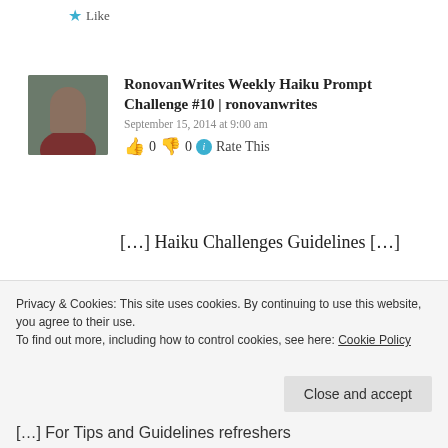★ Like
RonovanWrites Weekly Haiku Prompt Challenge #10 | ronovanwrites
September 15, 2014 at 9:00 am
👍 0 👎 0 ℹ Rate This
[…] Haiku Challenges Guidelines […]
★ Like
Privacy & Cookies: This site uses cookies. By continuing to use this website, you agree to their use. To find out more, including how to control cookies, see here: Cookie Policy
Close and accept
[…] For Tips and Guidelines refreshers